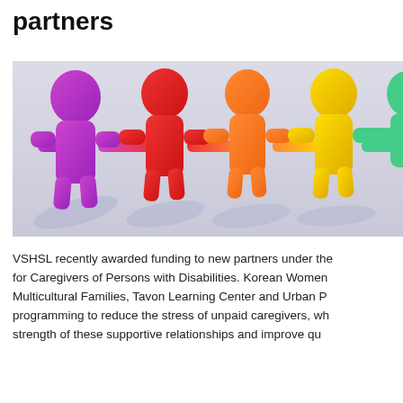partners
[Figure (photo): Colorful paper cut-out figures of people holding hands in a chain — purple, red, orange, yellow, and green — against a light gray background with soft shadows, symbolizing partnership and community.]
VSHSL recently awarded funding to new partners under the for Caregivers of Persons with Disabilities. Korean Women Multicultural Families, Tavon Learning Center and Urban P programming to reduce the stress of unpaid caregivers, wh strength of these supportive relationships and improve qu